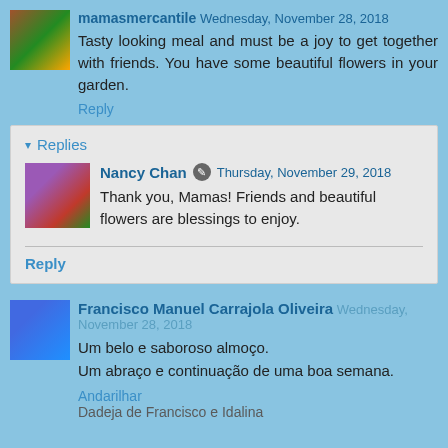mamasmercantile Wednesday, November 28, 2018
Tasty looking meal and must be a joy to get together with friends. You have some beautiful flowers in your garden.
Reply
Replies
Nancy Chan Thursday, November 29, 2018
Thank you, Mamas! Friends and beautiful flowers are blessings to enjoy.
Reply
Francisco Manuel Carrajola Oliveira Wednesday, November 28, 2018
Um belo e saboroso almoço.
Um abraço e continuação de uma boa semana.
Andarilhar
Dadeja de Francisco e Idalina